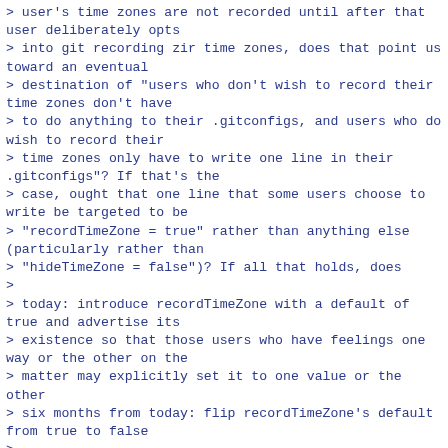> user's time zones are not recorded until after that user deliberately opts
> into git recording zir time zones, does that point us toward an eventual
> destination of "users who don't wish to record their time zones don't have
> to do anything to their .gitconfigs, and users who do wish to record their
> time zones only have to write one line in their .gitconfigs"? If that's the
> case, ought that one line that some users choose to write be targeted to be
> "recordTimeZone = true" rather than anything else (particularly rather than
> "hideTimeZone = false")? If all that holds, does
>
> today: introduce recordTimeZone with a default of true and advertise its
> existence so that those users who have feelings one way or the other on the
> matter may explicitly set it to one value or the other
> six months from today: flip recordTimeZone's default from true to false
>
> look like a plausible sketch of how to get to the desired future state?
>
> What am I missing (and ☞ that my "if"s hold too...)?